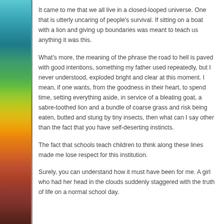[Figure (illustration): Colorful abstract swirl image on the left margin, transitioning from teal/blue at the top through green and yellow to orange and dark red/brown at the bottom.]
It came to me that we all live in a closed-looped universe. One that is utterly uncaring of people's survival. If sitting on a boat with a lion and giving up boundaries was meant to teach us anything it was this.
What's more, the meaning of the phrase the road to hell is paved with good intentions, something my father used repeatedly, but I never understood, exploded bright and clear at this moment. I mean, if one wants, from the goodness in their heart, to spend time, setting everything aside, in service of a bleating goat, a sabre-toothed lion and a bundle of coarse grass and risk being eaten, butted and stung by tiny insects, then what can I say other than the fact that you have self-deserting instincts.
The fact that schools teach children to think along these lines made me lose respect for this institution.
Surely, you can understand how it must have been for me. A girl who had her head in the clouds suddenly staggered with the truth of life on a normal school day.